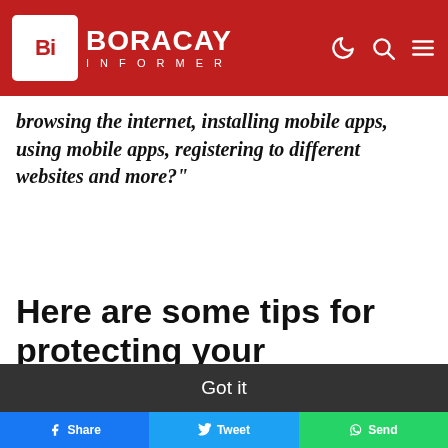Boracay Informer
browsing the internet, installing mobile apps, using mobile apps, registering to different websites and more?"
Here are some tips for protecting your information
We use cookies to improve your experience and track website usage  Cookies Policy
Got it
l to
Share  Tweet  Send